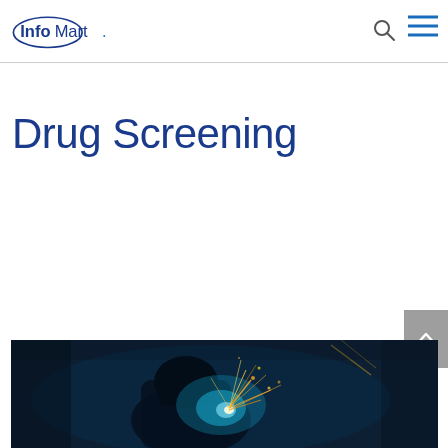InfoMart. [logo] [search icon] [menu icon]
Drug Screening
[Figure (photo): Welder working with bright sparks flying, dark industrial background with blue and orange light from welding torch]